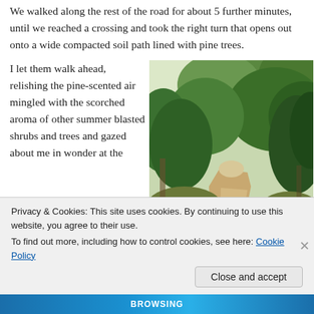We walked along the rest of the road for about 5 further minutes, until we reached a crossing and took the right turn that opens out onto a wide compacted soil path lined with pine trees.
I let them walk ahead, relishing the pine-scented air mingled with the scorched aroma of other summer blasted shrubs and trees and gazed about me in wonder at the
[Figure (photo): A photo of a wide compacted soil path lined with pine and other trees, taken in summer. The path leads into the distance with dense green and dry foliage on both sides.]
Privacy & Cookies: This site uses cookies. By continuing to use this website, you agree to their use.
To find out more, including how to control cookies, see here: Cookie Policy